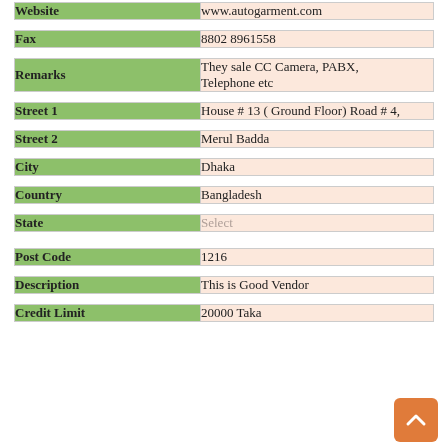| Field | Value |
| --- | --- |
| Website | www.autogarment.com |
| Fax | 8802 8961558 |
| Remarks | They sale CC Camera, PABX, Telephone etc |
| Street 1 | House # 13 ( Ground Floor) Road # 4, |
| Street 2 | Merul Badda |
| City | Dhaka |
| Country | Bangladesh |
| State | Select |
| Post Code | 1216 |
| Description | This is Good Vendor |
| Credit Limit | 20000 Taka |